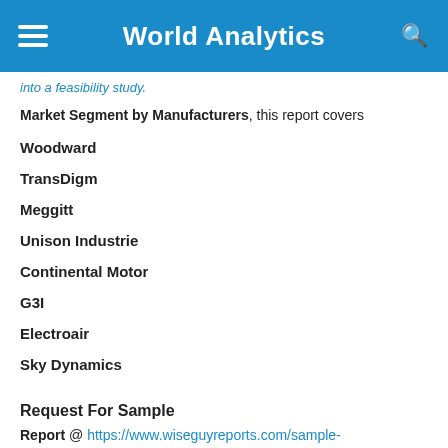World Analytics
into a feasibility study.
Market Segment by Manufacturers, this report covers
Woodward
TransDigm
Meggitt
Unison Industrie
Continental Motor
G3I
Electroair
Sky Dynamics
Request For Sample
Report @ https://www.wiseguyreports.com/sample-request/3337884-global-north-america-europe-asia-pacific-south-america